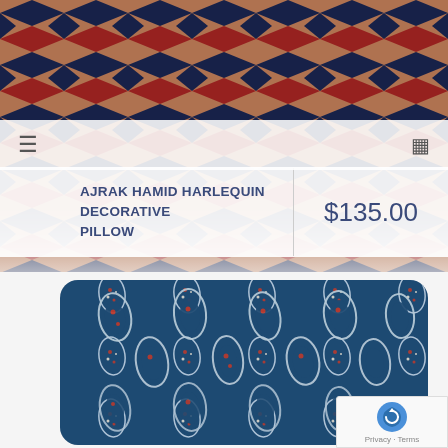[Figure (photo): Close-up of a decorative pillow with harlequin diamond pattern in red, navy blue, and peach/tan colors — Ajrak Hamid Harlequin Decorative Pillow]
≡
⊞
AJRAK HAMID HARLEQUIN DECORATIVE PILLOW
$135.00
[Figure (photo): A rectangular decorative pillow with a navy blue background and white paisley/leaf motif prints with small red floral details — second product shown below]
[Figure (logo): Google reCAPTCHA badge with spinning arrow logo and Privacy - Terms text]